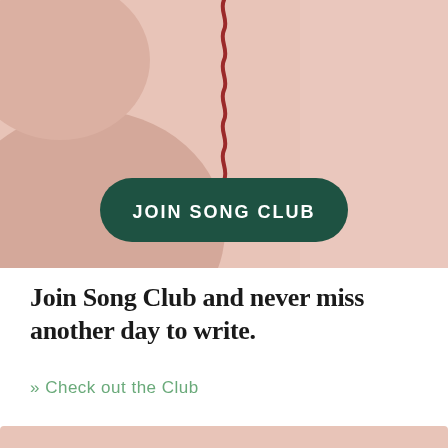[Figure (illustration): Decorative background with muted pink/rose abstract shapes and a dark red wavy vertical line, with a dark green pill-shaped button reading 'JOIN SONG CLUB' in white bold uppercase text]
Join Song Club and never miss another day to write.
» Check out the Club